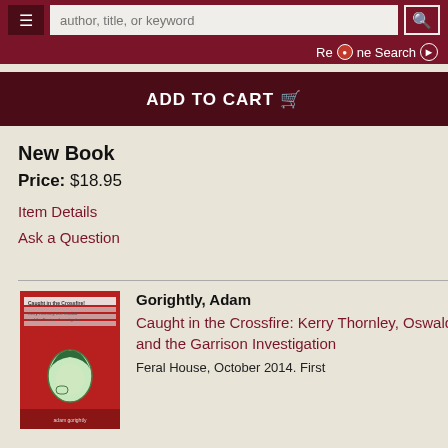author, title, or keyword
Refine Search
ADD TO CART
New Book
Price: $18.95
Item Details
Ask a Question
Gorightly, Adam
Caught in the Crossfire: Kerry Thornley, Oswald and the Garrison Investigation
Feral House, October 2014. First